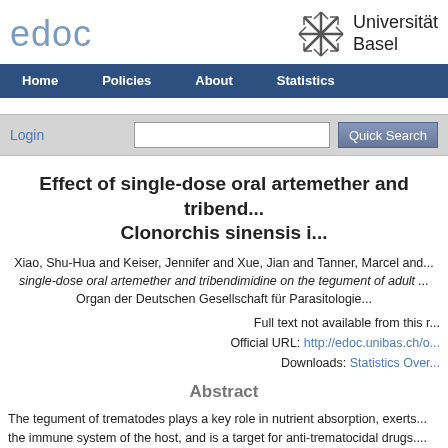edoc | Universität Basel
Home  Policies  About  Statistics
Login  [search box]  Quick Search
Effect of single-dose oral artemether and tribend... Clonorchis sinensis i...
Xiao, Shu-Hua and Keiser, Jennifer and Xue, Jian and Tanner, Marcel and... single-dose oral artemether and tribendimidine on the tegument of adult... Organ der Deutschen Gesellschaft für Parasitologie...
Full text not available from this r...
Official URL: http://edoc.unibas.ch/o...
Downloads: Statistics Over...
Abstract
The tegument of trematodes plays a key role in nutrient absorption, exerts... the immune system of the host, and is a target for anti-trematocidal drugs.... tegumental changes following artemether and tribendimidine administratio... scanning electron microscopy. Rats infected with C. sinensis for 6 weeks w...